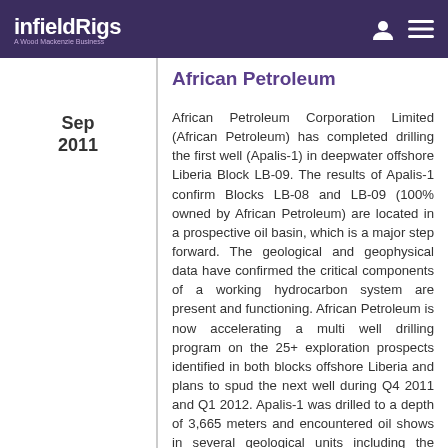infieldRigs — A Wood Mackenzie Business
African Petroleum
Sep 2011
African Petroleum Corporation Limited (African Petroleum) has completed drilling the first well (Apalis-1) in deepwater offshore Liberia Block LB-09. The results of Apalis-1 confirm Blocks LB-08 and LB-09 (100% owned by African Petroleum) are located in a prospective oil basin, which is a major step forward. The geological and geophysical data have confirmed the critical components of a working hydrocarbon system are present and functioning. African Petroleum is now accelerating a multi well drilling program on the 25+ exploration prospects identified in both blocks offshore Liberia and plans to spud the next well during Q4 2011 and Q1 2012. Apalis-1 was drilled to a depth of 3,665 meters and encountered oil shows in several geological units including the shallower (Tertiary) and deeper (Cretaceous) and petrophysical analysis indicates the presence of hydrocarbons. No commercial quality reservoir with hydrocarbons was encountered and